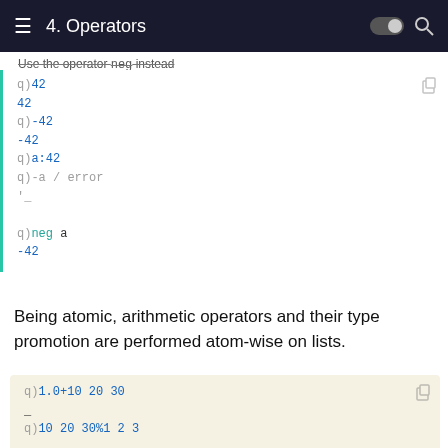4. Operators
Use the operator `neg` instead
[Figure (screenshot): Code block showing q REPL session with 42, -42, a:42, -a producing error, neg a producing -42]
Being atomic, arithmetic operators and their type promotion are performed atom-wise on lists.
[Figure (screenshot): Code block showing q REPL: 1.0+10 20 30, 10 20 30%1 2 3, 100 200 300+1b]